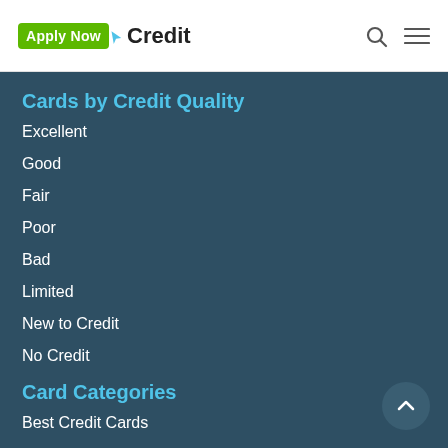Apply Now Credit
Cards by Credit Quality
Excellent
Good
Fair
Poor
Bad
Limited
New to Credit
No Credit
Card Categories
Best Credit Cards